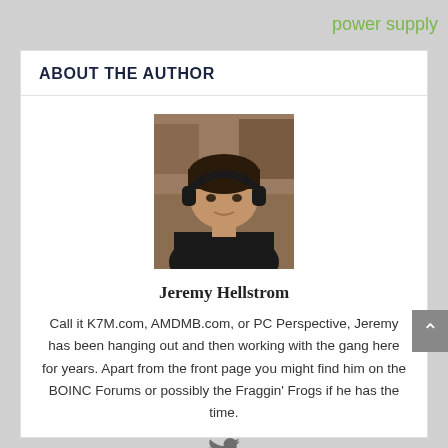power supply
ABOUT THE AUTHOR
[Figure (photo): Headshot photo of Jeremy Hellstrom, a man wearing headphones and a black shirt, seated indoors]
Jeremy Hellstrom
Call it K7M.com, AMDMB.com, or PC Perspective, Jeremy has been hanging out and then working with the gang here for years. Apart from the front page you might find him on the BOINC Forums or possibly the Fraggin' Frogs if he has the time.
[Figure (illustration): Twitter bird icon]